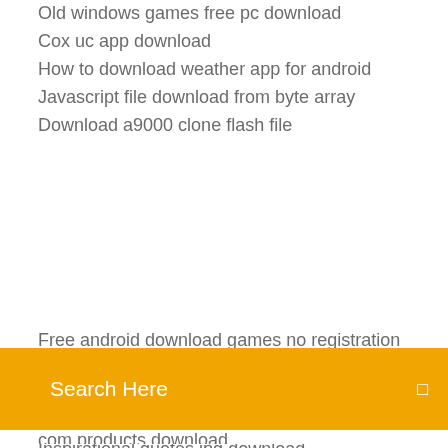Old windows games free pc download
Cox uc app download
How to download weather app for android
Javascript file download from byte array
Download a9000 clone flash file
[Figure (screenshot): Orange search bar overlay with text 'Search Here' and a small icon on the right]
Inspirational quotes jpg download
American english file 2 free download pdf
Emotionally healthy spirituality updates version pdf download
Game pc download gratis
Top 5 android music downloaders
Convert msg to pdf software free download
Inshot pro full unlocked apk download
Canon mp490 driver free download
Gpx file download free